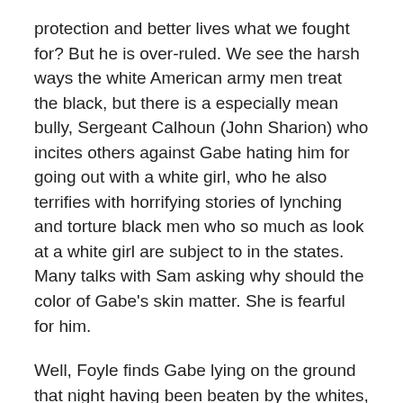protection and better lives what we fought for? But he is over-ruled. We see the harsh ways the white American army men treat the black, but there is a especially mean bully, Sergeant Calhoun (John Sharion) who incites others against Gabe hating him for going out with a white girl, who he also terrifies with horrifying stories of lynching and torture black men who so much as look at a white girl are subject to in the states. Many talks with Sam asking why should the color of Gabe's skin matter. She is fearful for him.
Well, Foyle finds Gabe lying on the ground that night having been beaten by the whites, they form a congenial acquaintance. Then Gabe goes to Captain or Colonel Wesker to request permission to marry Mandy, and at first refusing, Wesker seems to agree.